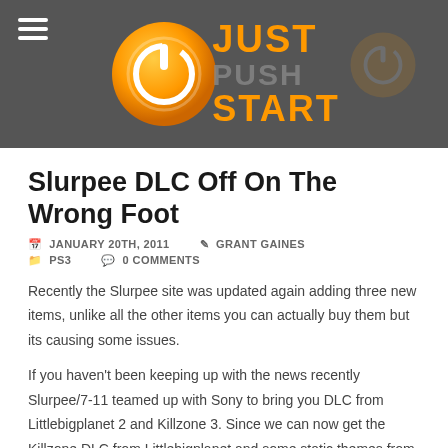[Figure (logo): Just Push Start website logo with orange power button icon and orange/grey text reading JUST PUSH START on dark grey header background with hamburger menu icon]
Slurpee DLC Off On The Wrong Foot
JANUARY 20TH, 2011   GRANT GAINES   PS3   0 COMMENTS
Recently the Slurpee site was updated again adding three new items, unlike all the other items you can actually buy them but its causing some issues.
If you haven't been keeping up with the news recently Slurpee/7-11 teamed up with Sony to bring you DLC from Littlebigplanet 2 and Killzone 3. Since we can now get the Killzone DLC from Littlebigplanet and some static themes from Littlebigplanet 2, many are excited to